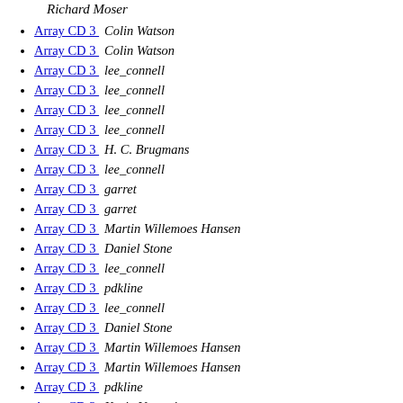Richard Moser
Array CD 3  Colin Watson
Array CD 3  Colin Watson
Array CD 3  lee_connell
Array CD 3  lee_connell
Array CD 3  lee_connell
Array CD 3  lee_connell
Array CD 3  H. C. Brugmans
Array CD 3  lee_connell
Array CD 3  garret
Array CD 3  garret
Array CD 3  Martin Willemoes Hansen
Array CD 3  Daniel Stone
Array CD 3  lee_connell
Array CD 3  pdkline
Array CD 3  lee_connell
Array CD 3  Daniel Stone
Array CD 3  Martin Willemoes Hansen
Array CD 3  Martin Willemoes Hansen
Array CD 3  pdkline
Array CD 3  Kevin Varnerin
Array CD 3  Danilo Šegan
Array CD 3  Daniel Stone
Array CD 3  Matt Zimmerman
Array CD 3  Colin Watson